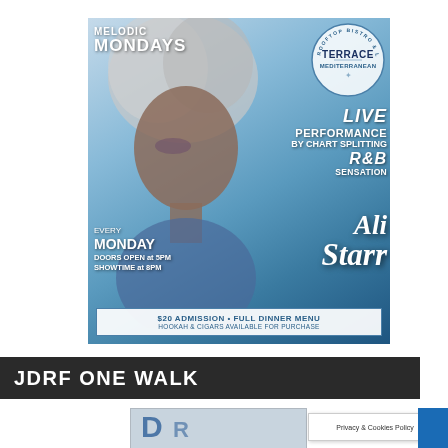[Figure (illustration): Event flyer for Melodic Mondays at Terrace Mediterranean Rooftop Bistro & Lounge. Features a woman with curly silver/white hair. Text includes: MELODIC MONDAYS, Terrace Mediterranean logo circle, LIVE PERFORMANCE BY CHART SPLITTING R&B SENSATION Ali Starr, EVERY MONDAY DOORS OPEN at 5PM SHOWTIME at 8PM, $20 ADMISSION • FULL DINNER MENU, HOOKAH & CIGARS AVAILABLE FOR PURCHASE.]
JDRF ONE WALK
[Figure (illustration): Partial view of JDRF One Walk promotional image at bottom of page, partially cropped. Includes a Privacy & Cookies Policy popup overlay and a blue element on the right.]
Privacy & Cookies Policy